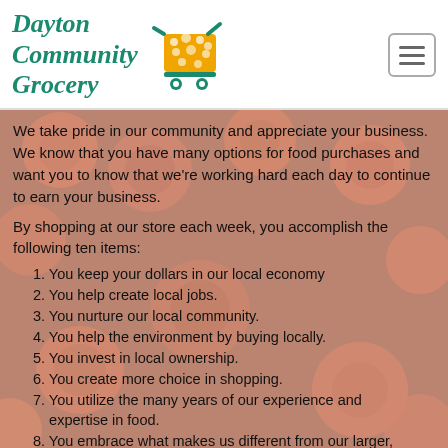Dayton Community Grocery
We take pride in our community and appreciate your business. We know that you have many options for food purchases and want you to know that we're working hard each day to continue to earn your business.
By shopping at our store each week, you accomplish the following ten items:
1. You keep your dollars in our local economy
2. You help create local jobs.
3. You nurture our local community.
4. You help the environment by buying locally.
5. You invest in local ownership.
6. You create more choice in shopping.
7. You utilize the many years of our experience and expertise in food.
8. You embrace what makes us different from our larger, national competitors.
9. You make our store a destination --- and we appreciate